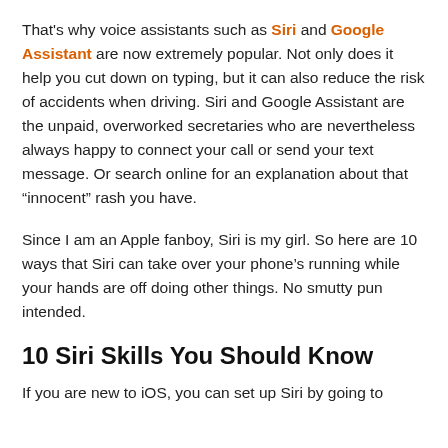That's why voice assistants such as Siri and Google Assistant are now extremely popular. Not only does it help you cut down on typing, but it can also reduce the risk of accidents when driving. Siri and Google Assistant are the unpaid, overworked secretaries who are nevertheless always happy to connect your call or send your text message. Or search online for an explanation about that “innocent” rash you have.
Since I am an Apple fanboy, Siri is my girl. So here are 10 ways that Siri can take over your phone’s running while your hands are off doing other things. No smutty pun intended.
10 Siri Skills You Should Know
If you are new to iOS, you can set up Siri by going to